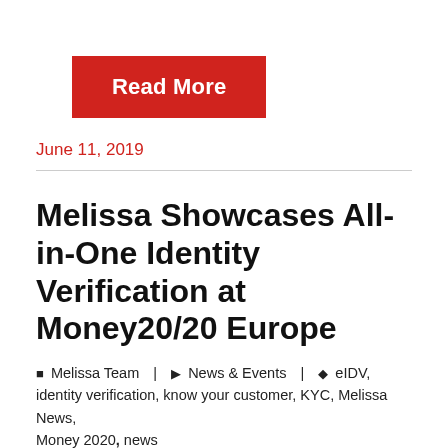[Figure (other): Red 'Read More' button]
June 11, 2019
Melissa Showcases All-in-One Identity Verification at Money20/20 Europe
Melissa Team | News & Events | eIDV, identity verification, know your customer, KYC, Melissa News, Money 2020, news
Demos Highlight How to Combat Fraud, Minimise Risk and False Positives, and Maintain Compliance During